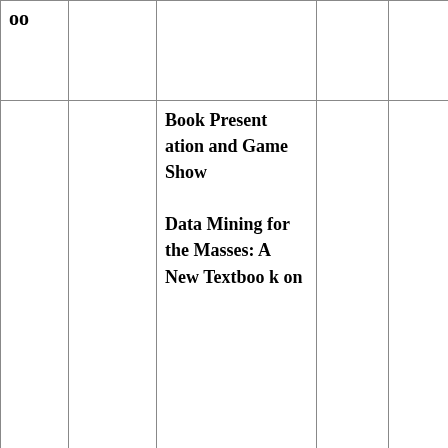| oo |  |  |  |  |
|  |  | Book Presentation and Game Show

Data Mining for the Masses: A New Textbook on |  |  |